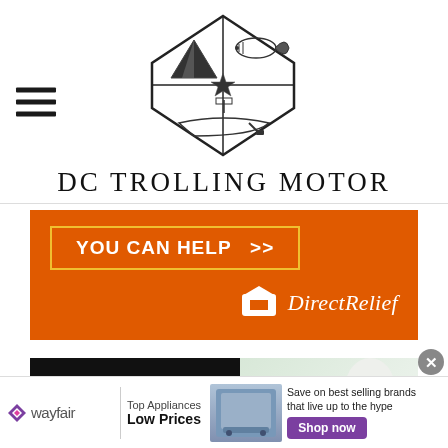[Figure (logo): DC Trolling Motor logo — diamond/hexagon shape containing illustrations of a tent, fish, and boat with trolling motor]
DC TROLLING MOTOR
[Figure (infographic): Orange banner ad with yellow-bordered button reading 'YOU CAN HELP >>' and Direct Relief logo and text on the right]
[Figure (infographic): Split banner: left black panel with bold white text 'We believe the global', right panel with floral/light background]
[Figure (infographic): Wayfair advertisement bar: Wayfair logo, 'Top Appliances Low Prices', image of appliance, 'Save on best selling brands that live up to the hype', purple 'Shop now' button, close X button]